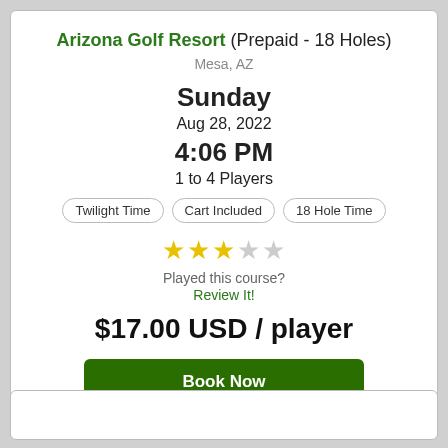Arizona Golf Resort (Prepaid - 18 Holes)
Mesa, AZ
Sunday
Aug 28, 2022
4:06 PM
1 to 4 Players
Twilight Time
Cart Included
18 Hole Time
[Figure (other): 3 gold stars and 2 gray stars rating]
Played this course?
Review It!
$17.00 USD / player
Book Now